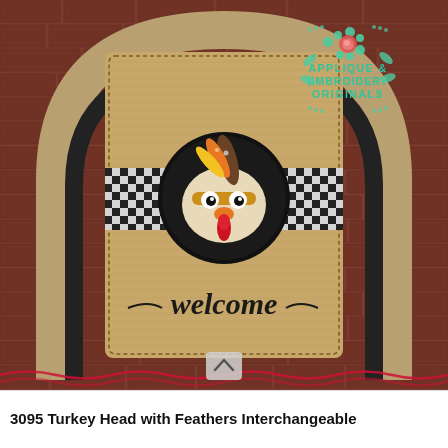[Figure (photo): A burlap welcome sign featuring a turkey head with feathers applique in a black circle, with black and white gingham fabric accent strips, displayed on a brick wall within a wooden arch frame. An 'Applique & Embroidery Originals' logo appears in the upper right corner of the photo. The sign reads 'welcome' in cursive script.]
3095 Turkey Head with Feathers Interchangeable